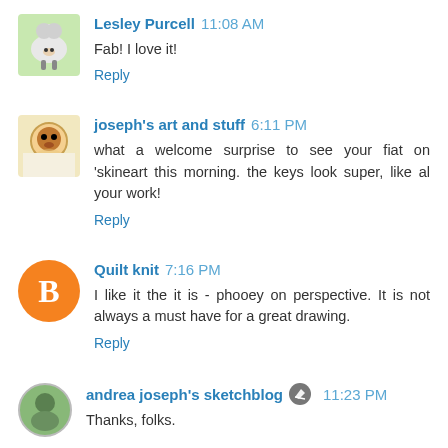Lesley Purcell 11:08 AM
Fab! I love it!
Reply
joseph's art and stuff 6:11 PM
what a welcome surprise to see your fiat on 'skineart this morning. the keys look super, like al your work!
Reply
Quilt knit 7:16 PM
I like it the it is - phooey on perspective. It is not always a must have for a great drawing.
Reply
andrea joseph's sketchblog 11:23 PM
Thanks, folks.